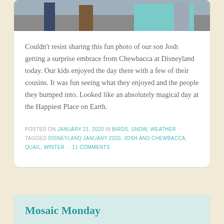[Figure (photo): Cropped photo showing people at Disneyland, partial view of figures]
Couldn't resist sharing this fun photo of our son Josh getting a surprise embrace from Chewbacca at Disneyland today. Our kids enjoyed the day there with a few of their cousins. It was fun seeing what they enjoyed and the people they bumped into. Looked like an absolutely magical day at the Happiest Place on Earth.
POSTED ON JANUARY 21, 2020 IN BIRDS, SNOW, WEATHER · TAGGED DISNEYLAND JANUARY 2020, JOSH AND CHEWBACCA, QUAIL, WINTER · 11 COMMENTS
Mosaic Monday